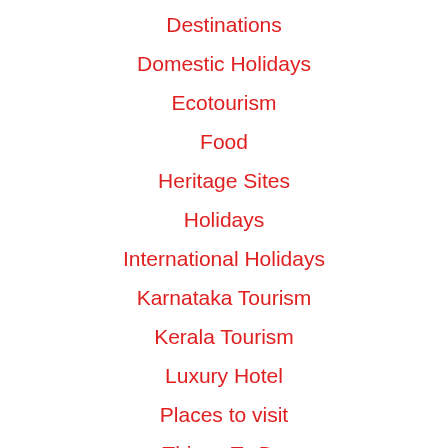Destinations
Domestic Holidays
Ecotourism
Food
Heritage Sites
Holidays
International Holidays
Karnataka Tourism
Kerala Tourism
Luxury Hotel
Places to visit
Things To Do
Travel